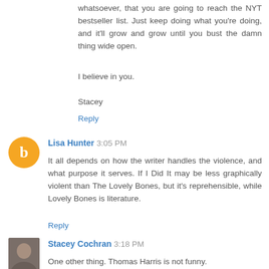whatsoever, that you are going to reach the NYT bestseller list. Just keep doing what you're doing, and it'll grow and grow until you bust the damn thing wide open.
I believe in you.
Stacey
Reply
Lisa Hunter  3:05 PM
It all depends on how the writer handles the violence, and what purpose it serves. If I Did It may be less graphically violent than The Lovely Bones, but it's reprehensible, while Lovely Bones is literature.
Reply
Stacey Cochran  3:18 PM
One other thing. Thomas Harris is not funny.